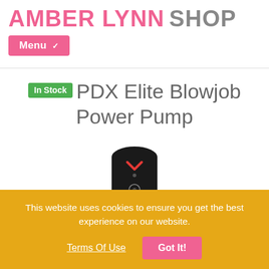AMBER LYNN SHOP
Menu ▾
In Stock PDX Elite Blowjob Power Pump
[Figure (photo): Product photo of PDX Elite Blowjob Power Pump — a black cylindrical device with chrome accents and a red logo mark, shown from the top at an angle.]
This website uses cookies to ensure you get the best experience on our website.
Terms Of Use  Got It!